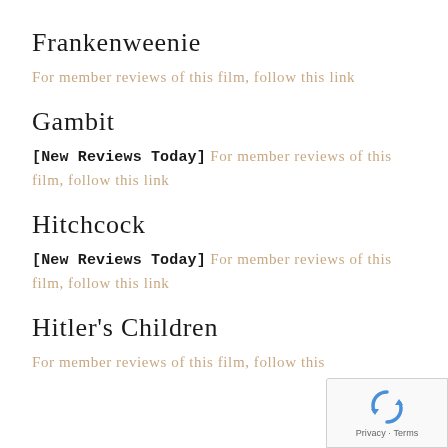Frankenweenie
For member reviews of this film, follow this link
Gambit
[New Reviews Today] For member reviews of this film, follow this link
Hitchcock
[New Reviews Today] For member reviews of this film, follow this link
Hitler's Children
For member reviews of this film, follow this